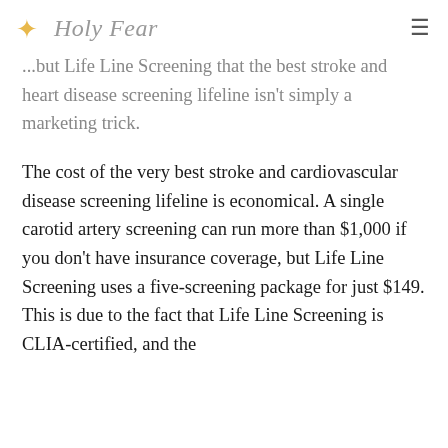Holy Fear
...but Life Line Screening that the best stroke and heart disease screening lifeline isn't simply a marketing trick.
The cost of the very best stroke and cardiovascular disease screening lifeline is economical. A single carotid artery screening can run more than $1,000 if you don't have insurance coverage, but Life Line Screening uses a five-screening package for just $149. This is due to the fact that Life Line Screening is CLIA-certified, and the